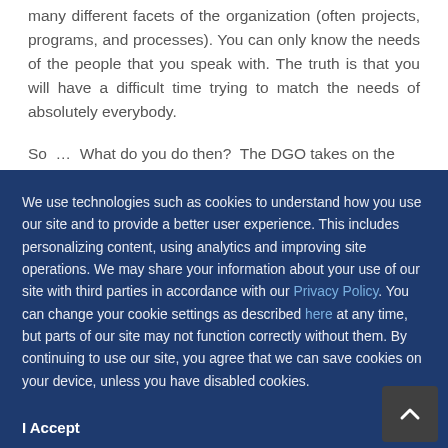many different facets of the organization (often projects, programs, and processes). You can only know the needs of the people that you speak with. The truth is that you will have a difficult time trying to match the needs of absolutely everybody.
So … What do you do then? The DGO takes on the
We use technologies such as cookies to understand how you use our site and to provide a better user experience. This includes personalizing content, using analytics and improving site operations. We may share your information about your use of our site with third parties in accordance with our Privacy Policy. You can change your cookie settings as described here at any time, but parts of our site may not function correctly without them. By continuing to use our site, you agree that we can save cookies on your device, unless you have disabled cookies.
I Accept